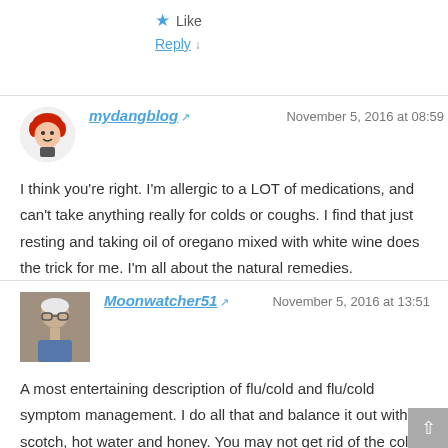Like
Reply ↓
mydangblog ↗  November 5, 2016 at 08:59
I think you're right. I'm allergic to a LOT of medications, and can't take anything really for colds or coughs. I find that just resting and taking oil of oregano mixed with white wine does the trick for me. I'm all about the natural remedies.
Like
Reply ↓
Moonwatcher51 ↗  November 5, 2016 at 13:51
A most entertaining description of flu/cold and flu/cold symptom management. I do all that and balance it out with scotch, hot water and honey. You may not get rid of the cold faster, but at least you feel comforted. Good luck with your campaign.